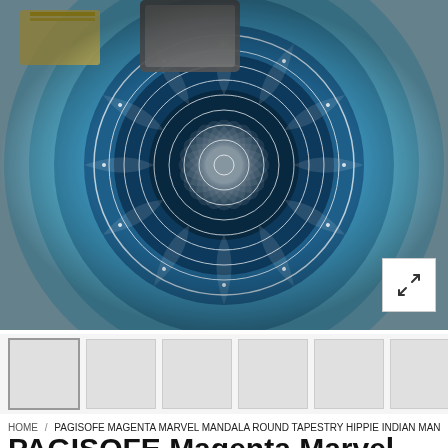[Figure (photo): Overhead photograph of a blue and white mandala round tapestry/beach blanket spread on the ground with some books and a tablet/phone placed on it. The tapestry features intricate ombre mandala design transitioning from dark navy/indigo at center to light blue at the edges. An expand/fullscreen button appears in the lower right corner of the image.]
HOME / PAGISOFE MAGENTA MARVEL MANDALA ROUND TAPESTRY HIPPIE INDIAN MAN...
PAGISOFE Magenta Marvel...